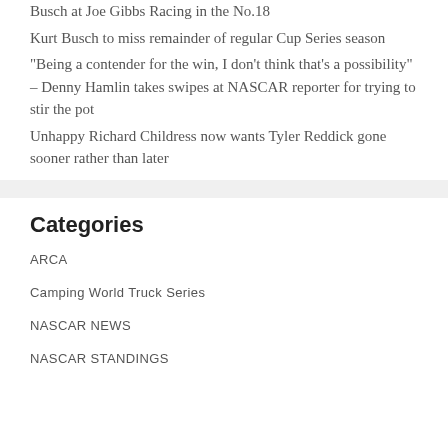Busch at Joe Gibbs Racing in the No.18
Kurt Busch to miss remainder of regular Cup Series season
“Being a contender for the win, I don’t think that’s a possibility” – Denny Hamlin takes swipes at NASCAR reporter for trying to stir the pot
Unhappy Richard Childress now wants Tyler Reddick gone sooner rather than later
Categories
ARCA
Camping World Truck Series
NASCAR NEWS
NASCAR STANDINGS